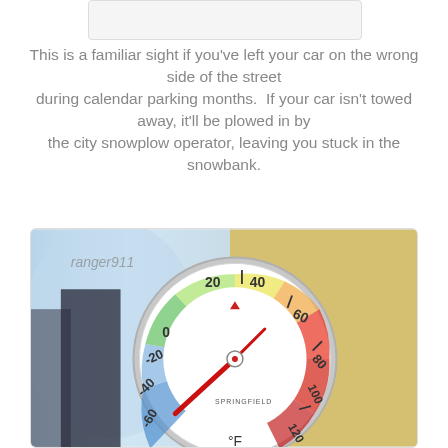[Figure (photo): Partial view of a top image/card, cropped at top of page]
This is a familiar sight if you've left your car on the wrong side of the street during calendar parking months. If your car isn't towed away, it'll be plowed in by the city snowplow operator, leaving you stuck in the snowbank.
[Figure (photo): Close-up photo of a circular outdoor thermometer with Fahrenheit scale showing approximately -20 to -10 degrees F. The thermometer has a colorful gradient dial (blue to red) and a red needle. Watermark reads 'ranger911'. Brand label reads 'SPRINGFIELD'. Scale shows -60, -40, -20, 0, 20, 40, 60, 80, 100, 120 degrees F.]